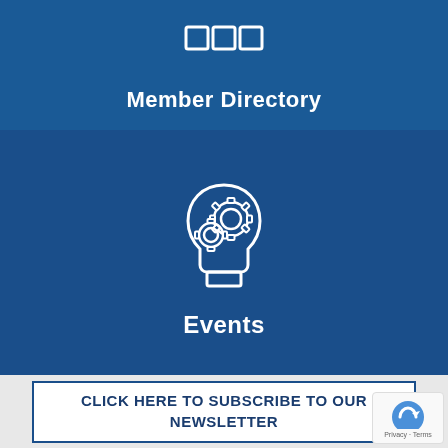[Figure (logo): Three white square grid icon (member directory icon) on blue background]
Member Directory
[Figure (illustration): White outline icon of a human head in profile with two gear/cog symbols inside, representing Events, on dark blue background]
Events
CLICK HERE TO SUBSCRIBE TO OUR NEWSLETTER